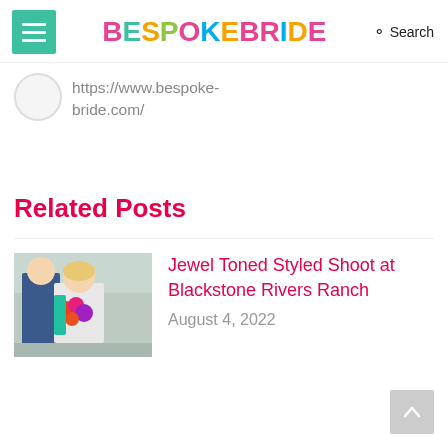BESPOKEBRIDE — Search
https://www.bespoke-bride.com/
Related Posts
[Figure (photo): Couple at a styled shoot — woman in off-shoulder dress with colorful bouquet, man in blue suit]
Jewel Toned Styled Shoot at Blackstone Rivers Ranch
August 4, 2022